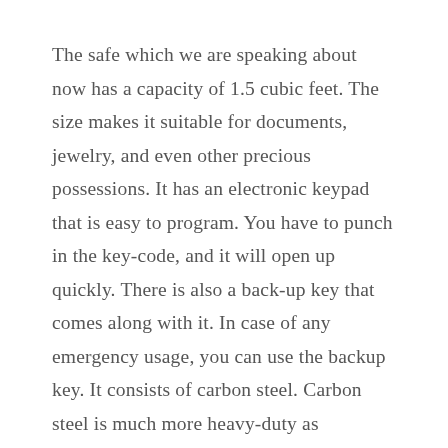The safe which we are speaking about now has a capacity of 1.5 cubic feet. The size makes it suitable for documents, jewelry, and even other precious possessions. It has an electronic keypad that is easy to program. You have to punch in the key-code, and it will open up quickly. There is also a back-up key that comes along with it. In case of any emergency usage, you can use the backup key. It consists of carbon steel. Carbon steel is much more heavy-duty as compared to standard steel.
When it comes to durability, you will face no problem at all. It also consists of 2 live bolts and concealed hinges. The level of security is enhanced. It is available